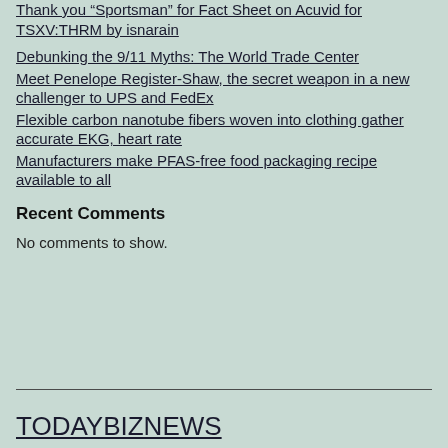Thank you “Sportsman” for Fact Sheet on Acuvid for TSXV:THRM by isnarain
Debunking the 9/11 Myths: The World Trade Center
Meet Penelope Register-Shaw, the secret weapon in a new challenger to UPS and FedEx
Flexible carbon nanotube fibers woven into clothing gather accurate EKG, heart rate
Manufacturers make PFAS-free food packaging recipe available to all
Recent Comments
No comments to show.
TODAYBIZNEWS